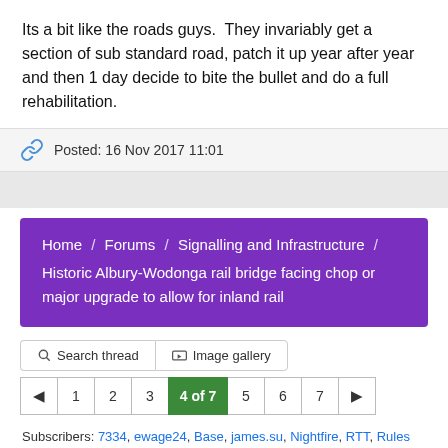Its a bit like the roads guys.  They invariably get a section of sub standard road, patch it up year after year and then 1 day decide to bite the bullet and do a full rehabilitation.
Posted: 16 Nov 2017 11:01
Home / Forums / Signalling and Infrastructure / Historic Albury-Wodonga rail bridge facing chop or major upgrade to allow for inland rail
Search thread    Image gallery
◄  1  2  3  4 of 7  5  6  7  ►
Subscribers: 7334, ewage24, Base, james.su, Nightfire, RTT, Rules